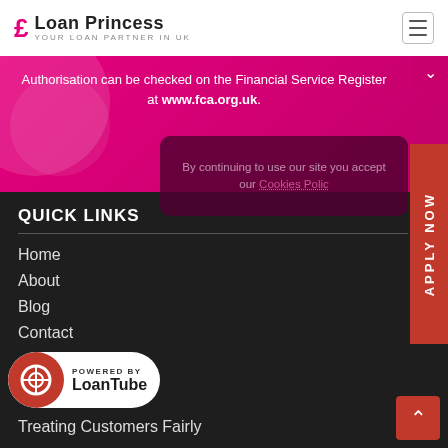Loan Princess — Your Loan Partner in UK
Authorisation can be checked on the Financial Service Register at www.fca.org.uk.
By continuing to use our site you accept our Cookies Policy
QUICK LINKS
Home
About
Blog
Contact
[Figure (logo): Powered by LoanTube badge with red circular icon and text]
Treating Customers Fairly